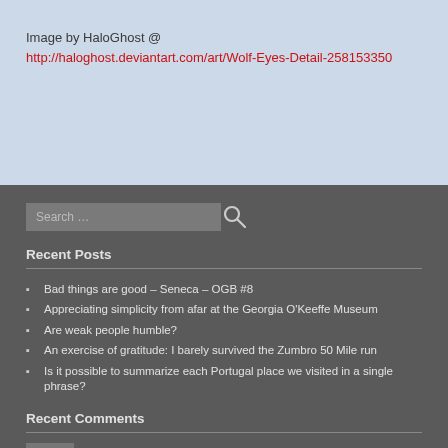Image by HaloGhost @
http://haloghost.deviantart.com/art/Wolf-Eyes-Detail-258153350
[Figure (screenshot): Search bar with search icon/button in dark gray sidebar]
Recent Posts
Bad things are good – Seneca – OGB #8
Appreciating simplicity from afar at the Georgia O'Keeffe Museum
Are weak people humble?
An exercise of gratitude: I barely survived the Zumbro 50 Mile run
Is it possible to summarize each Portugal place we visited in a single phrase?
Recent Comments
Peter Meglis on Appreciating simplicity from a…